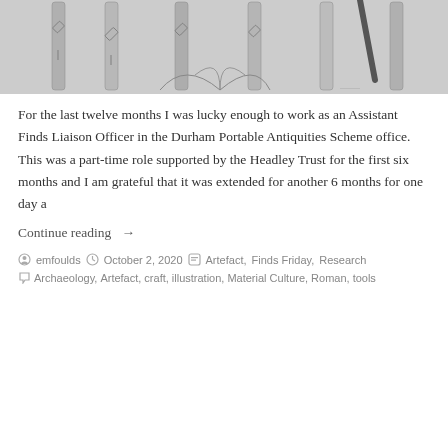[Figure (illustration): Pencil drawings of elongated cylindrical artefacts (Roman tools), arranged side by side on paper, viewed from above]
For the last twelve months I was lucky enough to work as an Assistant Finds Liaison Officer in the Durham Portable Antiquities Scheme office. This was a part-time role supported by the Headley Trust for the first six months and I am grateful that it was extended for another 6 months for one day a
Continue reading →
by emfoulds   October 2, 2020   Artefact, Finds Friday, Research
Archaeology, Artefact, craft, illustration, Material Culture, Roman, tools